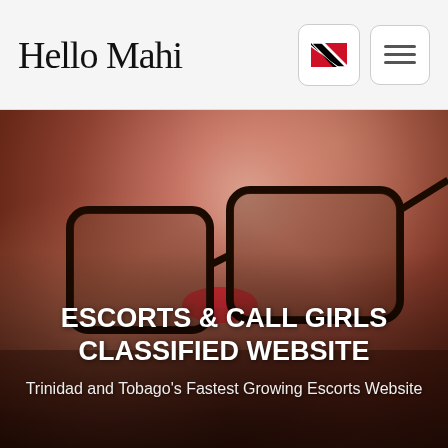Hello Mahi
[Figure (screenshot): Navigation header with flag icon (Trinidad and Tobago) and hamburger menu button]
[Figure (photo): Hero banner photo of a woman with glasses and red lips lying down, with overlaid text: 'ESCORTS & CALL GIRLS CLASSIFIED WEBSITE' and subtitle 'Trinidad and Tobago's Fastest Growing Escorts Website']
ESCORTS & CALL GIRLS CLASSIFIED WEBSITE
Trinidad and Tobago's Fastest Growing Escorts Website